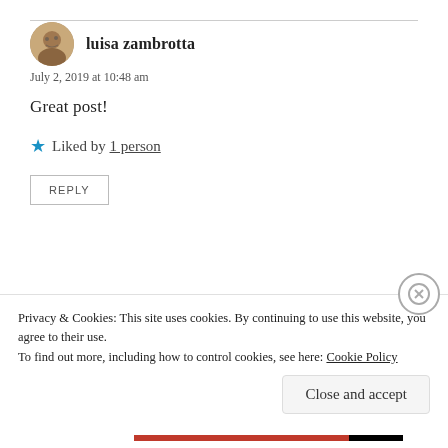luisa zambrotta
July 2, 2019 at 10:48 am
Great post!
★ Liked by 1 person
REPLY
Watt
July 2, 2019 at 4:18 pm
Privacy & Cookies: This site uses cookies. By continuing to use this website, you agree to their use. To find out more, including how to control cookies, see here: Cookie Policy
Close and accept